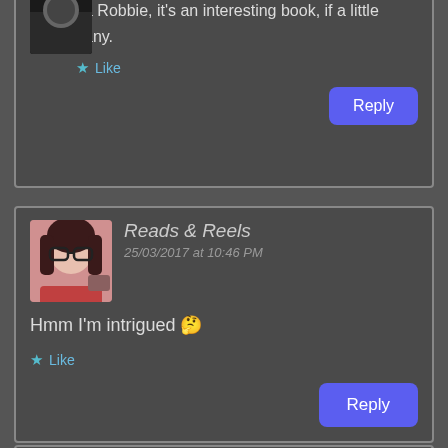Ta Robbie, it's an interesting book, if a little zany.
Like
Reply
Reads & Reels
25/03/2017 at 10:46 PM
Hmm I'm intrigued 🤔
Like
Reply